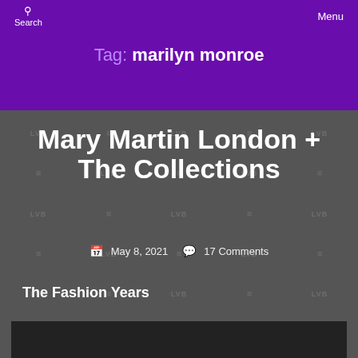Search   Lavender's Blue   Menu
Tag: marilyn monroe
Mary Martin London + The Collections
May 8, 2021   17 Comments
The Fashion Years
[Figure (photo): Dark image at the bottom of the page]